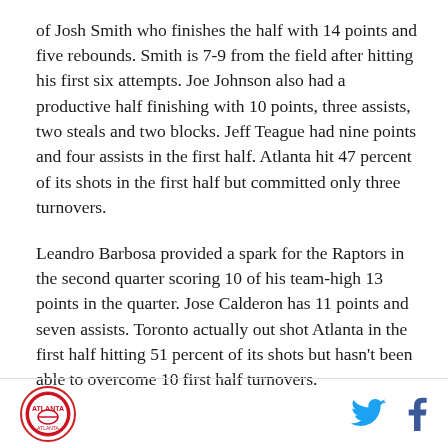of Josh Smith who finishes the half with 14 points and five rebounds. Smith is 7-9 from the field after hitting his first six attempts. Joe Johnson also had a productive half finishing with 10 points, three assists, two steals and two blocks. Jeff Teague had nine points and four assists in the first half. Atlanta hit 47 percent of its shots in the first half but committed only three turnovers.
Leandro Barbosa provided a spark for the Raptors in the second quarter scoring 10 of his team-high 13 points in the quarter. Jose Calderon has 11 points and seven assists. Toronto actually out shot Atlanta in the first half hitting 51 percent of its shots but hasn't been able to overcome 10 first half turnovers.
[Figure (logo): Atlanta Hawks circular logo with red border]